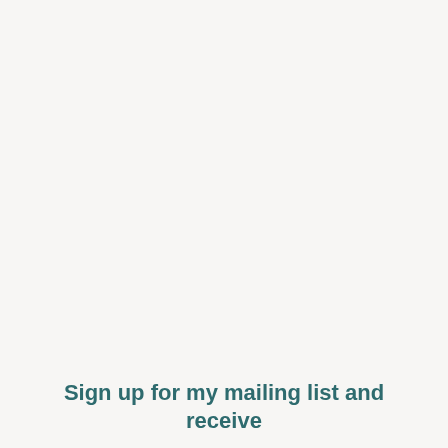Sign up for my mailing list and receive